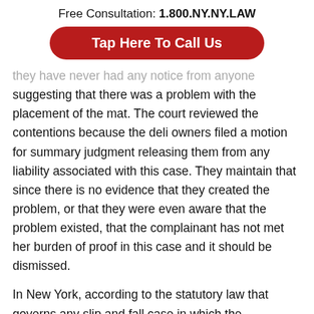Free Consultation: 1.800.NY.NY.LAW
Tap Here To Call Us
they have never had any notice from anyone suggesting that there was a problem with the placement of the mat. The court reviewed the contentions because the deli owners filed a motion for summary judgment releasing them from any liability associated with this case. They maintain that since there is no evidence that they created the problem, or that they were even aware that the problem existed, that the complainant has not met her burden of proof in this case and it should be dismissed.
In New York, according to the statutory law that governs any slip and fall case in which the complainant seeks to be awarded punitive damages, that proof of negligence by the court...